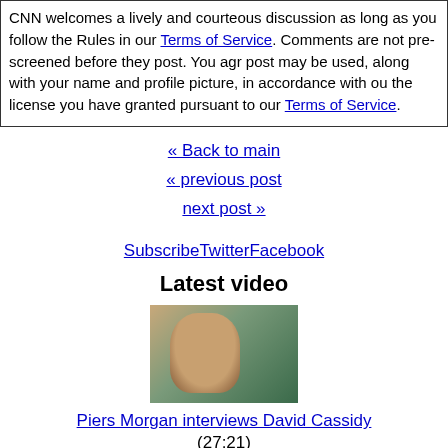CNN welcomes a lively and courteous discussion as long as you follow the Rules in our Terms of Service. Comments are not pre-screened before they post. You agree that anything you post may be used, along with your name and profile picture, in accordance with our Privacy Policy and the license you have granted pursuant to our Terms of Service.
« Back to main
« previous post
next post »
SubscribeTwitterFacebook
Latest video
[Figure (photo): Thumbnail of David Cassidy being interviewed by Piers Morgan, man with dark hair looking down, green background]
Piers Morgan interviews David Cassidy (27:21) Added on April 22, 2014
[Figure (photo): Second video thumbnail showing another interview guest with blue/green background]